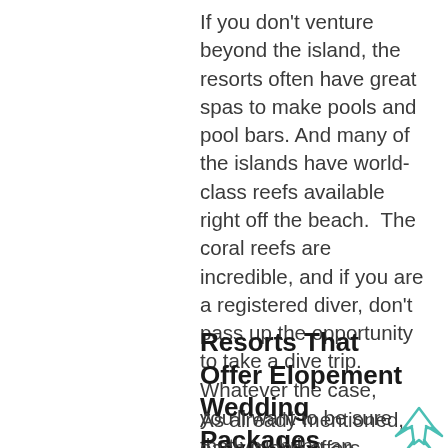If you don't venture beyond the island, the resorts often have great spas to make pools and pool bars. And many of the islands have world-class reefs available right off the beach.  The coral reefs are incredible, and if you are a registered diver, don't pass up the opportunity to take a dive trip.  Whatever the case, you'll want to be sure that you bring an outstanding quality waterproof camera when packing.
Resorts That Offer Elopement Wedding Packages
As already mentioned, each island offers something entirely different.